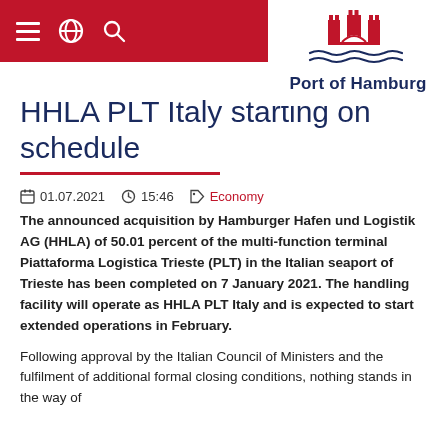Port of Hamburg — navigation header with menu, globe, and search icons
[Figure (logo): Port of Hamburg logo: red castle/gate icon with blue wavy lines beneath, text 'Port of Hamburg' in dark navy bold]
HHLA PLT Italy starting on schedule
01.07.2021  15:46  Economy
The announced acquisition by Hamburger Hafen und Logistik AG (HHLA) of 50.01 percent of the multi-function terminal Piattaforma Logistica Trieste (PLT) in the Italian seaport of Trieste has been completed on 7 January 2021. The handling facility will operate as HHLA PLT Italy and is expected to start extended operations in February.
Following approval by the Italian Council of Ministers and the fulfilment of additional formal closing conditions, nothing stands in the way of